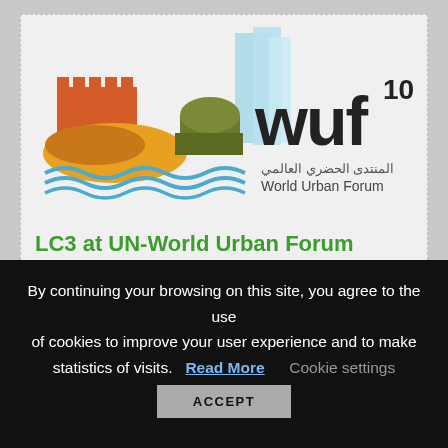[Figure (logo): WUF10 World Urban Forum logo with colorful cityscape illustration including castle, dunes, dome, blue glass buildings, and wavy water, with Arabic text 'المنتدى الحضري العالمي' and 'World Urban Forum']
LC3 at UN-World Urban Forum
10 February 2020
By continuing your browsing on this site, you agree to the use of cookies to improve your user experience and to make statistics of visits.
Read More   Cookie settings
ACCEPT